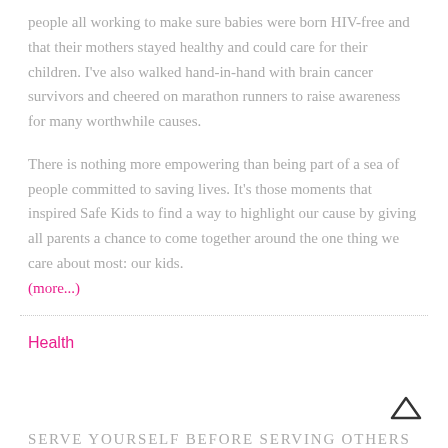people all working to make sure babies were born HIV-free and that their mothers stayed healthy and could care for their children. I've also walked hand-in-hand with brain cancer survivors and cheered on marathon runners to raise awareness for many worthwhile causes.
There is nothing more empowering than being part of a sea of people committed to saving lives. It's those moments that inspired Safe Kids to find a way to highlight our cause by giving all parents a chance to come together around the one thing we care about most: our kids.
(more...)
Health
SERVE YOURSELF BEFORE SERVING OTHERS